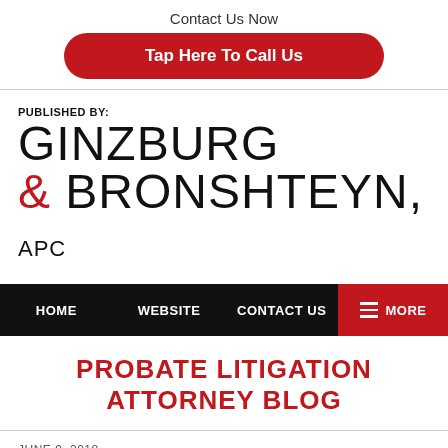Contact Us Now
Tap Here To Call Us
[Figure (logo): Ginzburg & Bronshteyn, APC law firm logo with 'PUBLISHED BY:' label above]
HOME   WEBSITE   CONTACT US   MORE
PROBATE LITIGATION ATTORNEY BLOG
JUNE 9, 2018
Attendance at State of the Probate